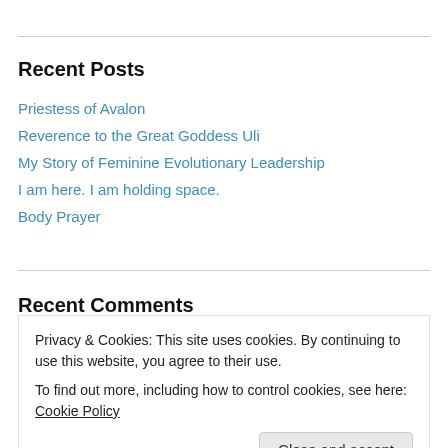Recent Posts
Priestess of Avalon
Reverence to the Great Goddess Uli
My Story of Feminine Evolutionary Leadership
I am here. I am holding space.
Body Prayer
Recent Comments
Privacy & Cookies: This site uses cookies. By continuing to use this website, you agree to their use.
To find out more, including how to control cookies, see here: Cookie Policy
Close and accept